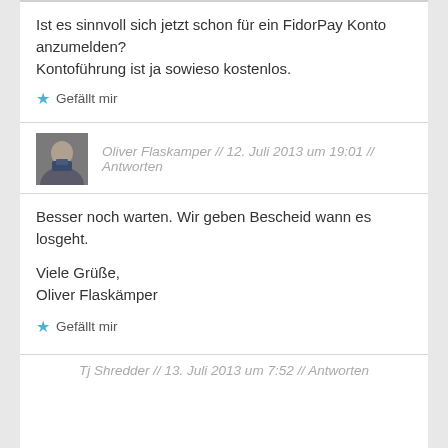Ist es sinnvoll sich jetzt schon für ein FidorPay Konto anzumelden?
Kontoführung ist ja sowieso kostenlos.
★ Gefällt mir
Oliver Flaskamper // 12. Juli 2013 um 19:01 // Antworten
Besser noch warten. Wir geben Bescheid wann es losgeht.

Viele Grüße,
Oliver Flaskämper
★ Gefällt mir
Tj Shredder // 13. Juli 2013 um 7:52 // Antworten